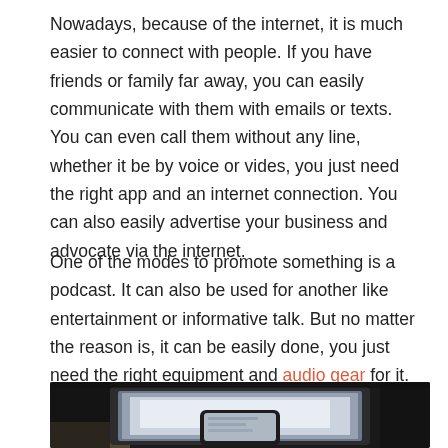Nowadays, because of the internet, it is much easier to connect with people. If you have friends or family far away, you can easily communicate with them with emails or texts. You can even call them without any line, whether it be by voice or vides, you just need the right app and an internet connection. You can also easily advertise your business and advocate via the internet.
One of the modes to promote something is a podcast. It can also be used for another like entertainment or informative talk. But no matter the reason is, it can be easily done, you just need the right equipment and audio gear for it.
[Figure (photo): A photo showing a laptop screen and a smartphone in the foreground on a desk, photographed in a dark, moody lighting environment.]